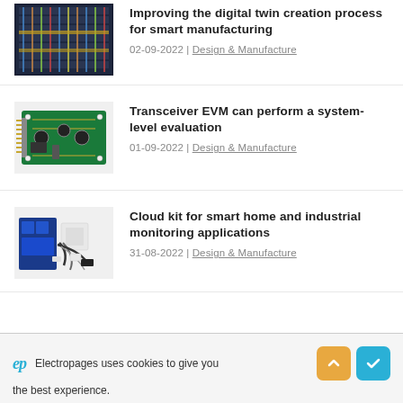Improving the digital twin creation process for smart manufacturing
02-09-2022 | Design & Manufacture
[Figure (photo): Photo of industrial electrical panel with wiring and components]
Transceiver EVM can perform a system-level evaluation
01-09-2022 | Design & Manufacture
[Figure (photo): Photo of a green PCB transceiver evaluation module]
Cloud kit for smart home and industrial monitoring applications
31-08-2022 | Design & Manufacture
[Figure (photo): Photo of a cloud kit with a circuit board, white module, cables and accessories]
Electropages uses cookies to give you the best experience.